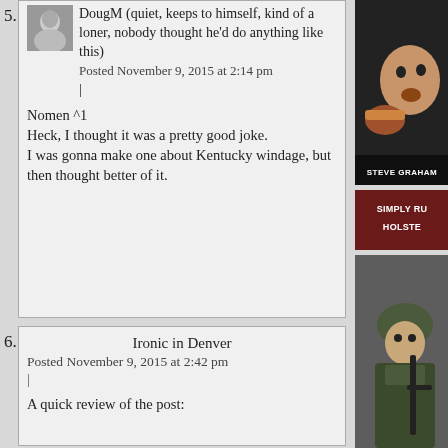5. DougM (quiet, keeps to himself, kind of a loner, nobody thought he'd do anything like this)
Posted November 9, 2015 at 2:14 pm
|

Nomen ^1
Heck, I thought it was a pretty good joke.
I was gonna make one about Kentucky windage, but then thought better of it.
[Figure (photo): User avatar thumbnail, grayscale photo of a person]
[Figure (photo): Right sidebar: photo of man eating food with text STEVE GRAHAM]
[Figure (photo): Right sidebar: dark red background ad with text SIMPLY RU... HOLSTE...]
[Figure (photo): Right sidebar: photo of soldier in military gear]
6. Ironic in Denver
Posted November 9, 2015 at 2:42 pm
|

A quick review of the post: